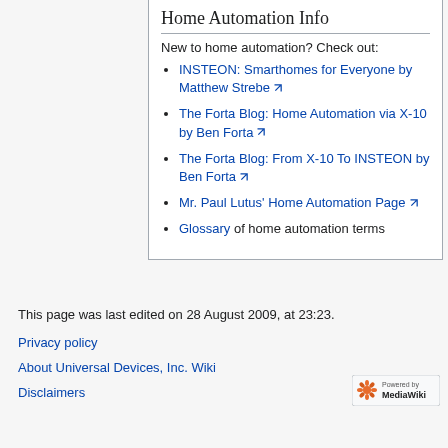Home Automation Info
New to home automation? Check out:
INSTEON: Smarthomes for Everyone by Matthew Strebe
The Forta Blog: Home Automation via X-10 by Ben Forta
The Forta Blog: From X-10 To INSTEON by Ben Forta
Mr. Paul Lutus' Home Automation Page
Glossary of home automation terms
This page was last edited on 28 August 2009, at 23:23.
Privacy policy
About Universal Devices, Inc. Wiki
Disclaimers